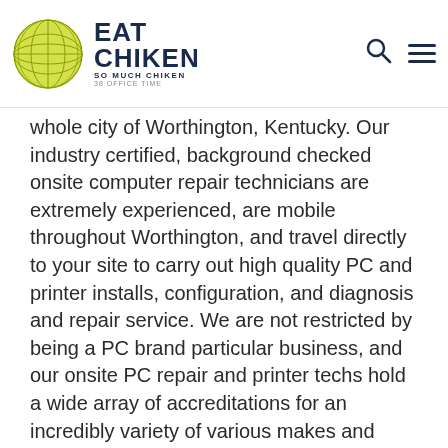EAT CHIKEN — SO MUCH CHIKEN / 38 OFFICE TIME
whole city of Worthington, Kentucky. Our industry certified, background checked onsite computer repair technicians are extremely experienced, are mobile throughout Worthington, and travel directly to your site to carry out high quality PC and printer installs, configuration, and diagnosis and repair service. We are not restricted by being a PC brand particular business, and our onsite PC repair and printer techs hold a wide array of accreditations for an incredibly variety of various makes and models of desktop, laptop computer, and printer types, so we have you covered despite your present equipment brand or current setup. Our specialists are also available to carry out installations, configuration, and repair of Point of Sale systems, for all software and hardware makes, models and types. With over 300 accredited onsite PC and printer repair service technicians